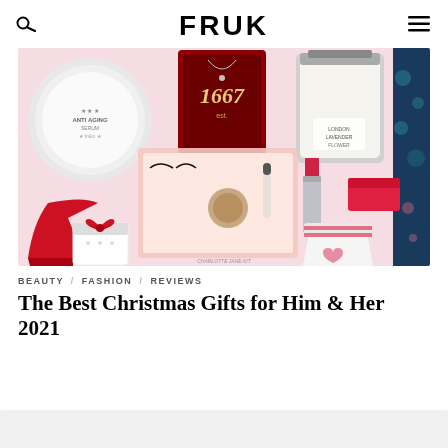FRUK
[Figure (photo): Collage of Christmas gift products on a pink background including beauty creams, a red gift box labeled 1667, a glass jar candle, a makeup palette with lashes, lipstick, red high heel shoe, gift box with bow, and holiday socks]
BEAUTY  /  FASHION  /  REVIEWS
The Best Christmas Gifts for Him & Her 2021